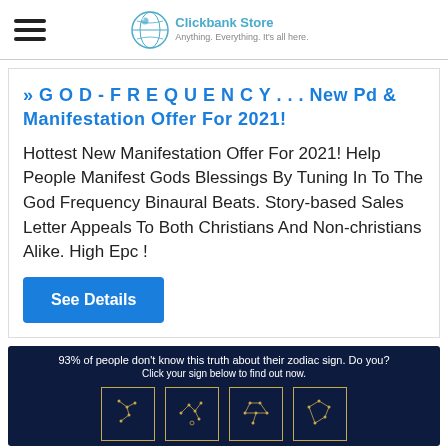Clickbank Store — Anything, Everything. It's all here.
» G O D - F R E Q U E N C Y . . . New Pd & Manifestation Offer For 2021!
Hottest New Manifestation Offer For 2021! Help People Manifest Gods Blessings By Tuning In To The God Frequency Binaural Beats. Story-based Sales Letter Appeals To Both Christians And Non-christians Alike. High Epc !
See Details
[Figure (screenshot): Dark navy banner reading '93% of people don't know this truth about their zodiac sign. Do you? Click your sign below to find out now.' with four zodiac constellation images in gold-bordered boxes at the bottom.]